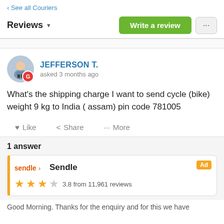‹ See all Couriers
Reviews ▾   Write a review   ...
JEFFERSON T.
asked 3 months ago
What's the shipping charge I want to send cycle (bike) weight 9 kg to India ( assam) pin code 781005
♥ Like   ≺ Share   ··· More
1 answer
Sendle  Ad
★★★☆  3.8 from 11,961 reviews
Good Morning. Thanks for the enquiry and for this we have